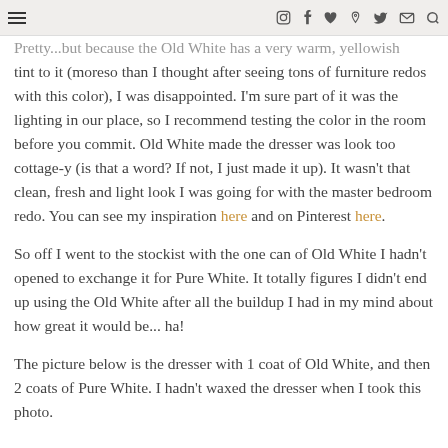Menu | Instagram | Facebook | Heart | Pinterest | Twitter | Mail | Search
Pretty...but because the Old White has a very warm, yellowish tint to it (moreso than I thought after seeing tons of furniture redos with this color), I was disappointed. I'm sure part of it was the lighting in our place, so I recommend testing the color in the room before you commit. Old White made the dresser was look too cottage-y (is that a word? If not, I just made it up). It wasn't that clean, fresh and light look I was going for with the master bedroom redo. You can see my inspiration here and on Pinterest here.
So off I went to the stockist with the one can of Old White I hadn't opened to exchange it for Pure White. It totally figures I didn't end up using the Old White after all the buildup I had in my mind about how great it would be... ha!
The picture below is the dresser with 1 coat of Old White, and then 2 coats of Pure White. I hadn't waxed the dresser when I took this photo.